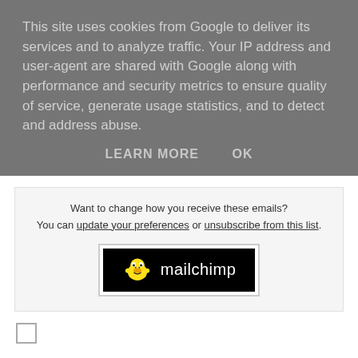This site uses cookies from Google to deliver its services and to analyze traffic. Your IP address and user-agent are shared with Google along with performance and security metrics to ensure quality of service, generate usage statistics, and to detect and address abuse.
LEARN MORE   OK
Want to change how you receive these emails? You can update your preferences or unsubscribe from this list.
[Figure (logo): Mailchimp logo on black background]
CCSMBA News at 21:15
No comments: